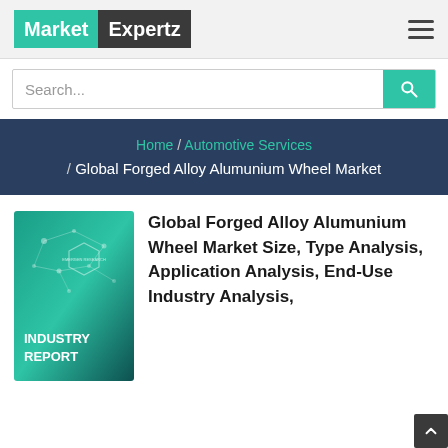Market Expertz
Search...
Home / Automotive Services / Global Forged Alloy Alumunium Wheel Market
[Figure (illustration): Market Expertz Industry Report cover image with teal geometric network design and text 'INDUSTRY REPORT']
Global Forged Alloy Alumunium Wheel Market Size, Type Analysis, Application Analysis, End-Use Industry Analysis,